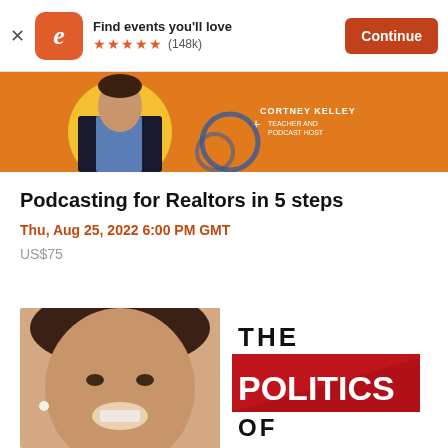Find events you'll love ★★★★★ (148k) Continue
[Figure (screenshot): Event promotional banner with speaker on orange background, showing CORTNEY KELLEY TEACHER AND PODCAST HOST]
Podcasting for Realtors in 5 steps
Thu, Aug 25, 2022 6:00 PM GMT
US$75
[Figure (photo): Woman smiling on left half, THE POLITICS OF text/logo on right half]